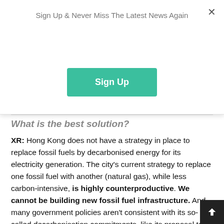Sign Up & Never Miss The Latest News Again
Sign Up
What is the best solution?
XR: Hong Kong does not have a strategy in place to replace fossil fuels by decarbonised energy for its electricity generation. The city's current strategy to replace one fossil fuel with another (natural gas), while less carbon-intensive, is highly counterproductive. We cannot be building new fossil fuel infrastructure. And many government policies aren't consistent with its so-called decarbonisation commitments, like its proposal to build a third runway at the airport.
GQ: What is a misconception about a green habit that you wish more Hong Kongers knew about? Is there all it better time…